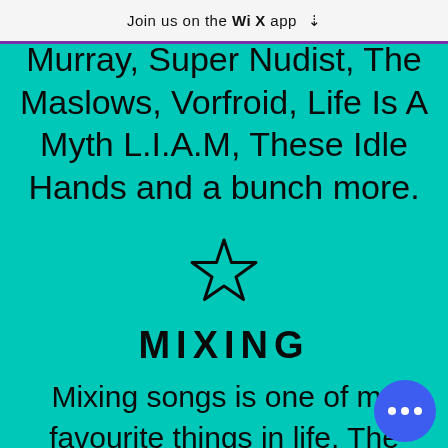Join us on the WiX app ↓
Murray, Super Nudist, The Maslows, Vorfroid, Life Is A Myth L.I.A.M, These Idle Hands and a bunch more.
[Figure (illustration): Star outline icon (☆)]
MIXING
Mixing songs is one of my favourite things in life. The thrill of receiving a fresh project from an artist a...